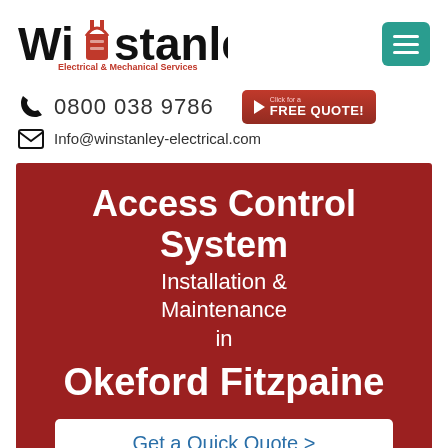[Figure (logo): Winstanley Electrical & Mechanical Services logo with plug icon and red tagline]
[Figure (other): Teal hamburger menu button with three horizontal white lines]
0800 038 9786
[Figure (other): Dark red Free Quote button with play triangle icon and text 'Click for a FREE QUOTE!']
Info@winstanley-electrical.com
Access Control System Installation & Maintenance in Okeford Fitzpaine
Get a Quick Quote >